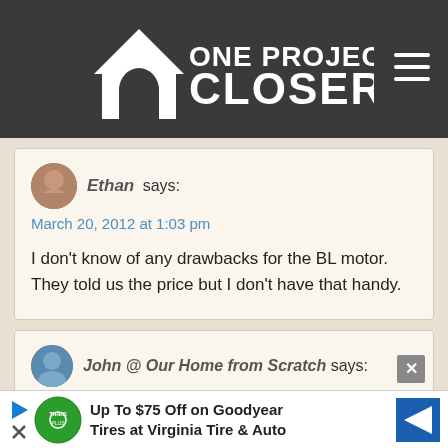[Figure (logo): One Project Closer website logo with house icon on dark background]
Ethan says:
March 20, 2012 at 1:03 pm

I don't know of any drawbacks for the BL motor. They told us the price but I don't have that handy.
John @ Our Home from Scratch says:
March
[Figure (infographic): Advertisement: Up To $75 Off on Goodyear Tires at Virginia Tire & Auto]